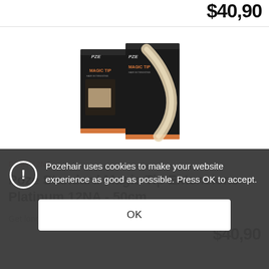$40,90
[Figure (photo): Product photo of Poze Standard Magic Tip Extensions Platinum 12NA - 50cm. Shows two dark-packaged hair extension boxes with the text 'MAGIC TIP' visible and blonde hair extensions displayed.]
PZMT-12NA
Poze Standard Magic Tip Extensions Platinum 12NA - 50cm
Get longer and fuller hair with revolutionary hair extension...
$40,90
Pozehair uses cookies to make your website experience as good as possible. Press OK to accept.
OK